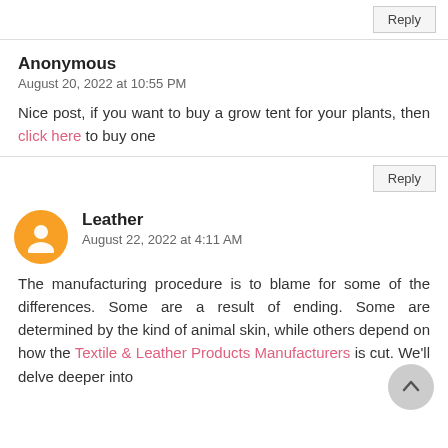Reply
Anonymous
August 20, 2022 at 10:55 PM
Nice post, if you want to buy a grow tent for your plants, then click here to buy one
Reply
Leather
August 22, 2022 at 4:11 AM
The manufacturing procedure is to blame for some of the differences. Some are a result of ending. Some are determined by the kind of animal skin, while others depend on how the Textile & Leather Products Manufacturers is cut. We'll delve deeper into